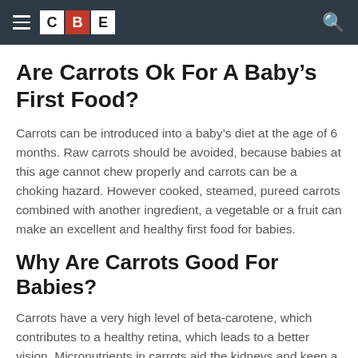CBE
Are Carrots Ok For A Baby’s First Food?
Carrots can be introduced into a baby’s diet at the age of 6 months. Raw carrots should be avoided, because babies at this age cannot chew properly and carrots can be a choking hazard. However cooked, steamed, pureed carrots combined with another ingredient, a vegetable or a fruit can make an excellent and healthy first food for babies.
Why Are Carrots Good For Babies?
Carrots have a very high level of beta-carotene, which contributes to a healthy retina, which leads to a better vision. Micronutrients in carrots aid the kidneys and keep a healthy circulatory system.